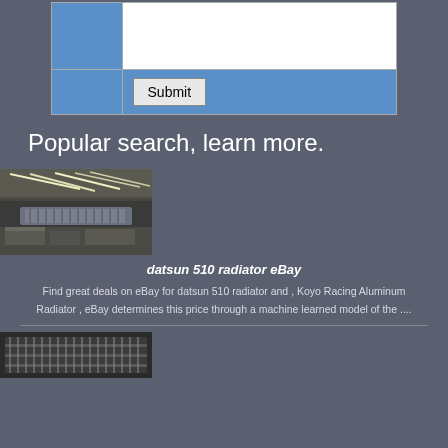[Figure (screenshot): Form with textarea and Submit button on a blue background]
Popular search, learn more.
[Figure (photo): Industrial warehouse interior with overhead fluorescent lighting and metal structures]
datsun 510 radiator eBay
Find great deals on eBay for datsun 510 radiator and , Koyo Racing Aluminum Radiator , eBay determines this price through a machine learned model of the ....
[Figure (photo): Close-up of radiator or mechanical parts]